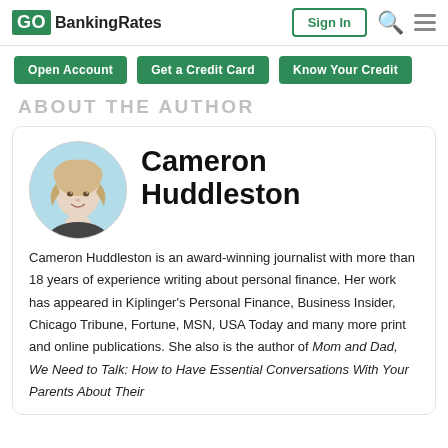GOBankingRates — Sign In
Open Account   Get a Credit Card   Know Your Credit
ABOUT THE AUTHOR
[Figure (illustration): Portrait illustration of Cameron Huddleston, a woman with blonde hair, in a circular frame with light blue background.]
Cameron Huddleston
Cameron Huddleston is an award-winning journalist with more than 18 years of experience writing about personal finance. Her work has appeared in Kiplinger's Personal Finance, Business Insider, Chicago Tribune, Fortune, MSN, USA Today and many more print and online publications. She also is the author of Mom and Dad, We Need to Talk: How to Have Essential Conversations With Your Parents About Their Finances (U.S. News & World Report and more)